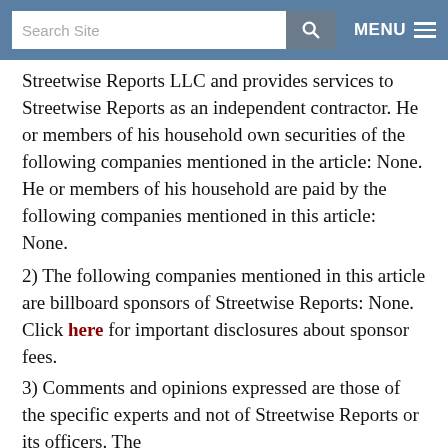Search Site | MENU
Streetwise Reports LLC and provides services to Streetwise Reports as an independent contractor. He or members of his household own securities of the following companies mentioned in the article: None. He or members of his household are paid by the following companies mentioned in this article: None.
2) The following companies mentioned in this article are billboard sponsors of Streetwise Reports: None. Click here for important disclosures about sponsor fees.
3) Comments and opinions expressed are those of the specific experts and not of Streetwise Reports or its officers. The